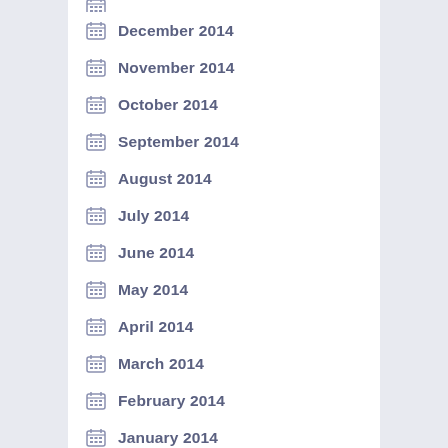December 2014
November 2014
October 2014
September 2014
August 2014
July 2014
June 2014
May 2014
April 2014
March 2014
February 2014
January 2014